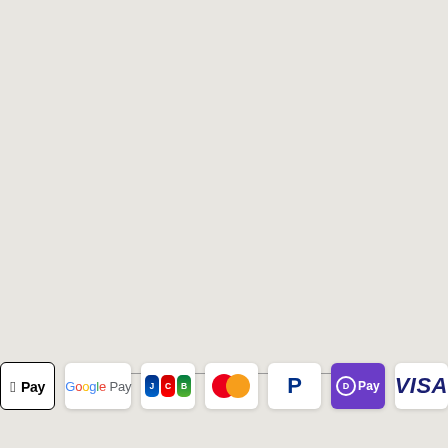[Figure (other): A thin horizontal divider line with a small dot separator, centered on the page near the bottom third]
[Figure (infographic): Row of 7 payment method icons: Apple Pay, Google Pay, JCB, Mastercard, PayPal, Samsung Pay (D Pay), and Visa]